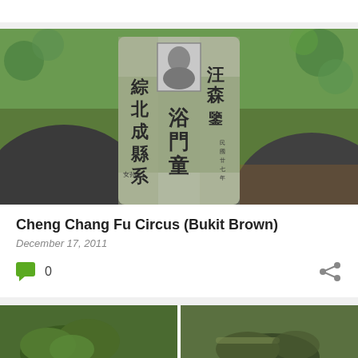[Figure (photo): A stone grave marker with Chinese characters carved into it, partially covered in green moss. A small portrait photo is embedded at the top center of the stone. Two large rounded darker stones flank the central marker. The background shows a wooded/jungle setting with green foliage.]
Cheng Chang Fu Circus (Bukit Brown)
December 17, 2011
[Figure (photo): Partial view of two ground-level photos of jungle/forest floor vegetation, green plants visible, appears to be the top of another blog post card below.]